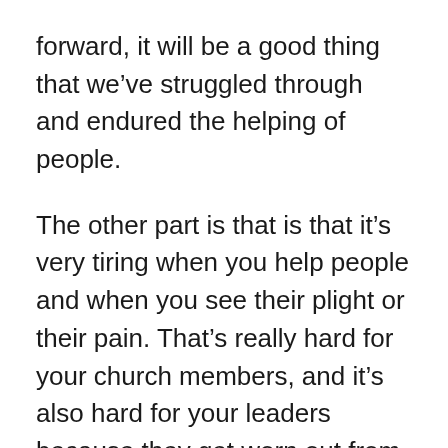forward, it will be a good thing that we've struggled through and endured the helping of people.
The other part is that is that it's very tiring when you help people and when you see their plight or their pain. That's really hard for your church members, and it's also hard for your leaders because they get worn out from seeing so much pain. Gateway, being integrally involved, you feel a sense of that emotional struggle because you feel with the homeowners and that is hard for your